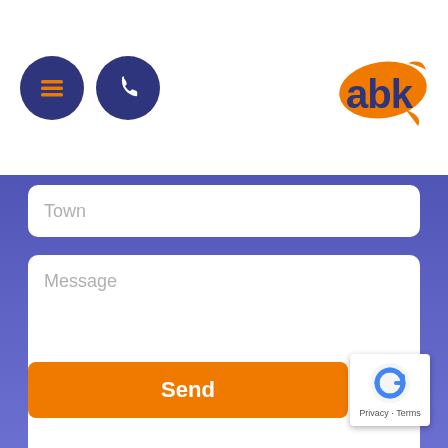[Figure (screenshot): Mobile app navigation header with dark blue circular icons (hamburger menu and phone) on the left, and ABK logo on the right, on a white background]
Town
Message
Send
[Figure (logo): reCAPTCHA badge with robot icon and Privacy/Terms text]